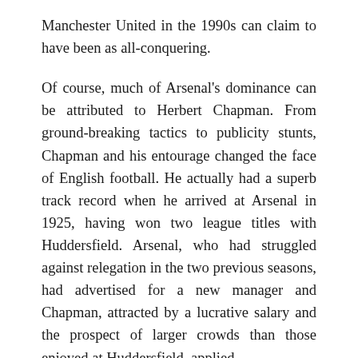Manchester United in the 1990s can claim to have been as all-conquering.
Of course, much of Arsenal's dominance can be attributed to Herbert Chapman. From ground-breaking tactics to publicity stunts, Chapman and his entourage changed the face of English football. He actually had a superb track record when he arrived at Arsenal in 1925, having won two league titles with Huddersfield. Arsenal, who had struggled against relegation in the two previous seasons, had advertised for a new manager and Chapman, attracted by a lucrative salary and the prospect of larger crowds than those enjoyed at Huddersfield, applied.
Chapman replaced Leslie Knighton, who had been in charge at Arsenal since 1919. Knighton could not get along with Arsenal's notorious chairman Sir Henry Norris and prevented him from spending big in the